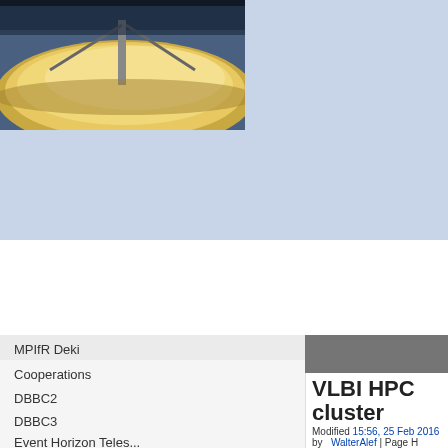[Figure (photo): Radio telescope dish photograph, warm yellowish-orange illumination, dark sky background]
MPIfR Deki
Cooperations
DBBC2
DBBC3
Event Horizon Teles...
LOFAR
VLBI at ALMA (MPIfR...
VLBI at APEX
VLBI HPC cluster
Software packages
VLBI multifrequency...
VLBI HPC cluster
Modified 15:56, 25 Feb 2016 by WalterAlef | Page H
Version as of 22:51, 29 Aug 2022
Revert to this version.
Return to Version archive.
View current version
General characteristics
Users need to get an account first (see W. A